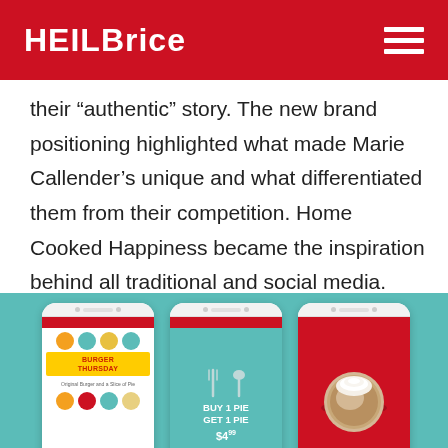HEILBrice
their “authentic” story. The new brand positioning highlighted what made Marie Callender’s unique and what differentiated them from their competition. Home Cooked Happiness became the inspiration behind all traditional and social media.
[Figure (screenshot): Three smartphone screenshots showing Marie Callender's social media content: (1) Burger Thursday post with food icons and yellow banner, (2) Buy 1 Pie Get 1 Pie for $4.99 offer on teal background with fork and spoon graphics, (3) Red background with image of a pie in a bowl. All displayed on a teal/turquoise background.]